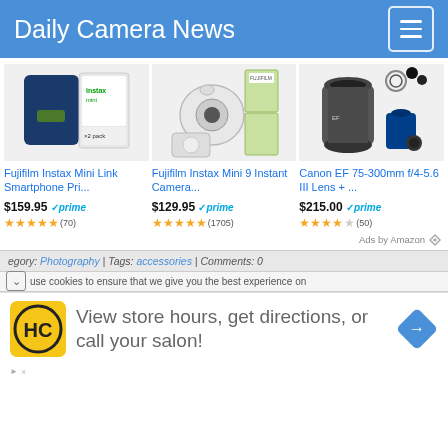Daily Camera News
[Figure (screenshot): Amazon ad widget showing three camera products: Fujifilm Instax Mini Link Smartphone Printer, Fujifilm Instax Mini 9 Instant Camera, and Canon EF 75-300mm f/4-5.6 III Lens. Each shows product image, title, price with Amazon Prime badge, and star ratings.]
Fujifilm Instax Mini Link Smartphone Pri... $159.95 prime (70 reviews, ~4.5 stars)
Fujifilm Instax Mini 9 Instant Camera... $129.95 prime (1705 reviews, ~4.5 stars)
Canon EF 75-300mm f/4-5.6 III Lens + ... $215.00 prime (50 reviews, ~4 stars)
Ads by Amazon
egory: Photography | Tags: accessories | Comments: 0
use cookies to ensure that we give you the best experience on
[Figure (infographic): Bottom advertisement banner: HC logo (yellow background, black HC letters), text 'View store hours, get directions, or call your salon!', and a blue map/direction diamond icon.]